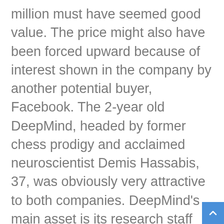million must have seemed good value. The price might also have been forced upward because of interest shown in the company by another potential buyer, Facebook. The 2-year old DeepMind, headed by former chess prodigy and acclaimed neuroscientist Demis Hassabis, 37, was obviously very attractive to both companies. DeepMind's main asset is its research staff members working on machine learning.
Google has not commented on the conditions of the sale. The search engine company has recently purchased the smart thermostat and alarm company Nest, as well as a number of robotics companies in 2013. Most recently, in December, Google acquired Boston Dynamics, which some